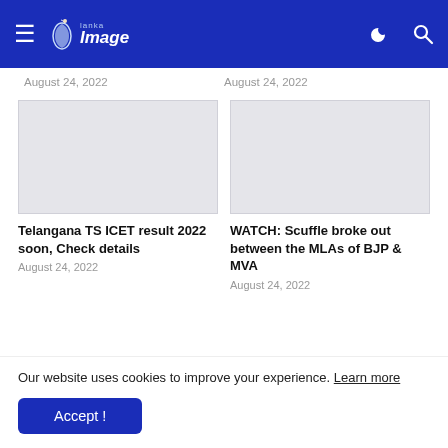Lanka Image — site header with hamburger menu, logo, moon icon, search icon
August 24, 2022
August 24, 2022
[Figure (photo): Empty/placeholder image card left]
[Figure (photo): Empty/placeholder image card right]
Telangana TS ICET result 2022 soon, Check details
August 24, 2022
WATCH: Scuffle broke out between the MLAs of BJP & MVA
August 24, 2022
[Figure (photo): Partial banner image bottom right with green/blue colors and text THE]
Our website uses cookies to improve your experience. Learn more
Accept !